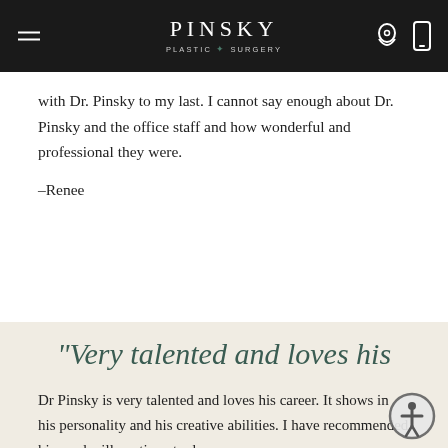PINSKY PLASTIC SURGERY
with Dr. Pinsky to my last. I cannot say enough about Dr. Pinsky and the office staff and how wonderful and professional they were.
–Renee
“Very talented and loves his career”
Dr Pinsky is very talented and loves his career. It shows in his personality and his creative abilities. I have recommended him and will continue to do so.